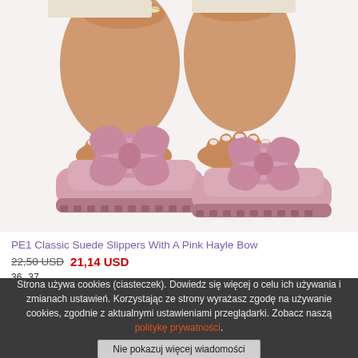[Figure (photo): Pink suede slide slippers with a large bow on the strap, worn by a woman. Anklet with shell beads visible. White background product photo.]
PE1 Classic Suede Slippers With A Pink Hayle Bow
22,50 USD  21,14 USD
36  37
Strona używa cookies (ciasteczek). Dowiedz się więcej o celu ich używania i zmianach ustawień. Korzystając ze strony wyrażasz zgodę na używanie cookies, zgodnie z aktualnymi ustawieniami przeglądarki. Zobacz naszą politykę prywatności.
Nie pokazuj więcej wiadomości